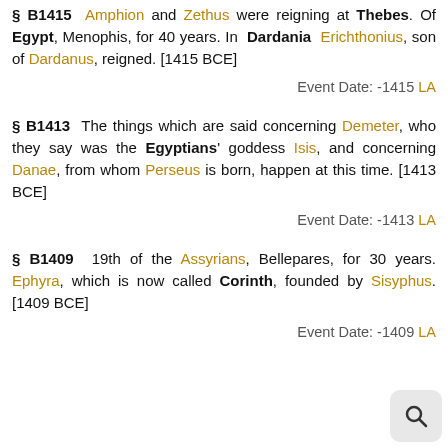§ B1415 Amphion and Zethus were reigning at Thebes. Of Egypt, Menophis, for 40 years. In Dardania Erichthonius, son of Dardanus, reigned. [1415 BCE]
Event Date: -1415 LA
§ B1413 The things which are said concerning Demeter, who they say was the Egyptians' goddess Isis, and concerning Danae, from whom Perseus is born, happen at this time. [1413 BCE]
Event Date: -1413 LA
§ B1409 19th of the Assyrians, Bellepares, for 30 years. Ephyra, which is now called Corinth, founded by Sisyphus. [1409 BCE]
Event Date: -1409 LA